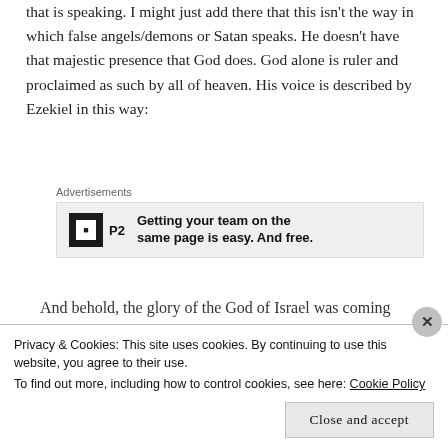that is speaking. I might just add there that this isn't the way in which false angels/demons or Satan speaks. He doesn't have that majestic presence that God does. God alone is ruler and proclaimed as such by all of heaven. His voice is described by Ezekiel in this way:
[Figure (infographic): Advertisement box for P2 service. Label reads 'Advertisements'. Logo is a dark square with 'P2'. Ad text reads: 'Getting your team on the same page is easy. And free.']
And behold, the glory of the God of Israel was coming from the east. And the sound of his
Privacy & Cookies: This site uses cookies. By continuing to use this website, you agree to their use.
To find out more, including how to control cookies, see here: Cookie Policy
Close and accept